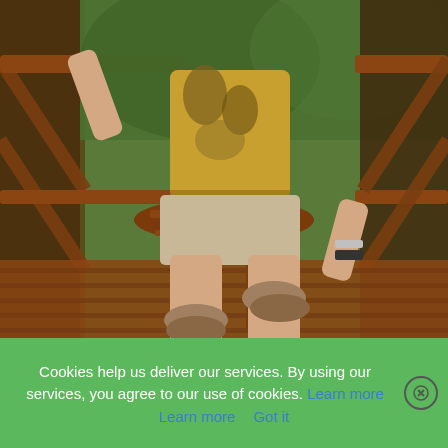[Figure (photo): A person wearing a patterned shirt, khaki shorts, and hiking shoes/sandals, seated on a wooden stool on a wooden deck with a rustic wooden railing, surrounded by green vegetation in the background.]
Cookies help us deliver our services. By using our services, you agree to our use of cookies. Learn more  Got it